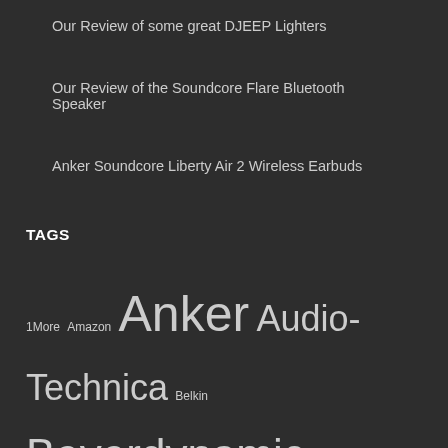Our Review of some great DJEEP Lighters
Our Review of the Soundcore Flare Bluetooth Speaker
Anker Soundcore Liberty Air 2 Wireless Earbuds
TAGS
1More Amazon Anker Audio-Technica Belkin Beyerdynamic Catalyst CES 2019 D-Link HEX iHome IK Multimedia Incipio J5Create Jabra Kensington Kickstarter Lenovo LG Lifeproof Limitless Innovations Logitech Microsoft myCharge Nokia Nomad Oculus rift Olloclip Otterbox Pelican phone cases ROCCAT Samsung smartwatch Speculative Fiction Speculative